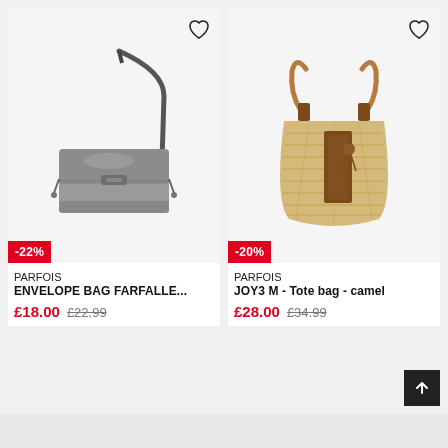[Figure (photo): Silver/grey metallic Parfois envelope shoulder bag (ENVELOPE BAG FARFALLE) with a -22% discount badge]
PARFOIS
ENVELOPE BAG FARFALLE...
£18.00  £22.99
[Figure (photo): Straw/raffia camel tote bag (JOY3 M - Tote bag - camel) with brown leather handles and trim from Parfois, with a -20% discount badge]
PARFOIS
JOY3 M - Tote bag - camel
£28.00  £34.99